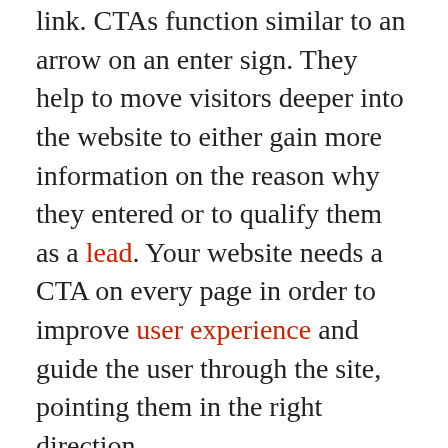link. CTAs function similar to an arrow on an enter sign. They help to move visitors deeper into the website to either gain more information on the reason why they entered or to qualify them as a lead. Your website needs a CTA on every page in order to improve user experience and guide the user through the site, pointing them in the right direction.
Every website should have some type of CTA available to visitors. You can read more about including vital CTAs on your